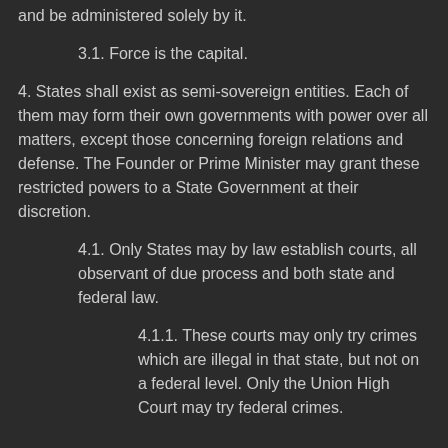and be administered solely by it.
3.1. Force is the capital.
4. States shall exist as semi-sovereign entities. Each of them may form their own governments with power over all matters, except those concerning foreign relations and defense. The Founder or Prime Minister may grant these restricted powers to a State Government at their discretion.
4.1. Only States may by law establish courts, all observant of due process and both state and federal law.
4.1.1. These courts may only try crimes which are illegal in that state, but not on a federal level. Only the Union High Court may try federal crimes.